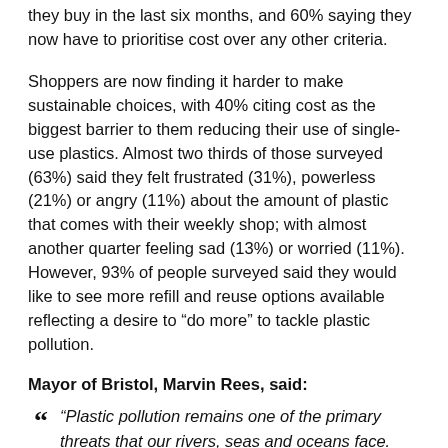they buy in the last six months, and 60% saying they now have to prioritise cost over any other criteria.
Shoppers are now finding it harder to make sustainable choices, with 40% citing cost as the biggest barrier to them reducing their use of single-use plastics. Almost two thirds of those surveyed (63%) said they felt frustrated (31%), powerless (21%) or angry (11%) about the amount of plastic that comes with their weekly shop; with almost another quarter feeling sad (13%) or worried (11%). However, 93% of people surveyed said they would like to see more refill and reuse options available reflecting a desire to “do more” to tackle plastic pollution.
Mayor of Bristol, Marvin Rees, said:
“Plastic pollution remains one of the primary threats that our rivers, seas and oceans face. This is a challenge we all have a part in rising to and it’s important we make sure that our